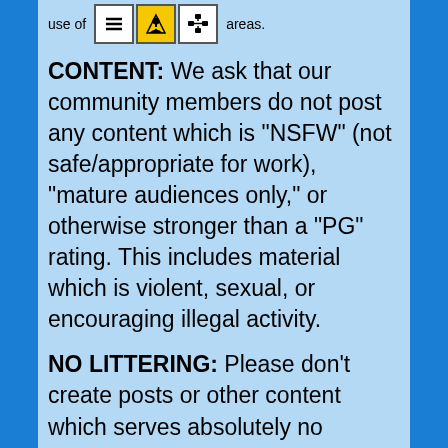use of [icons] areas.
CONTENT: We ask that our community members do not post any content which is "NSFW" (not safe/appropriate for work), "mature audiences only," or otherwise stronger than a "PG" rating. This includes material which is violent, sexual, or encouraging illegal activity.
NO LITTERING: Please don't create posts or other content which serves absolutely no purpose to the project. Fun, humor, and occasional off-topic talk is welcome (especially in comments and chat) as long as we're getting the work done, but please don't clutter up the network with useless noise. On Phabricator, use appropriate tools (such as Tokens) for giving generic feedback; use comments for more specific feedback.
NO VANDALISM: Do not attempt to